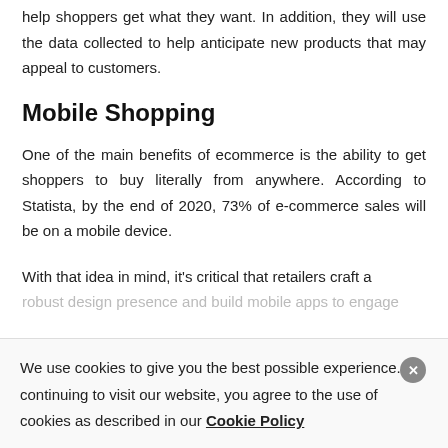help shoppers get what they want. In addition, they will use the data collected to help anticipate new products that may appeal to customers.
Mobile Shopping
One of the main benefits of ecommerce is the ability to get shoppers to buy literally from anywhere. According to Statista, by the end of 2020, 73% of e-commerce sales will be on a mobile device.
With that idea in mind, it's critical that retailers craft a robust design presence and build mobile apps to engage
We use cookies to give you the best possible experience. By continuing to visit our website, you agree to the use of cookies as described in our Cookie Policy